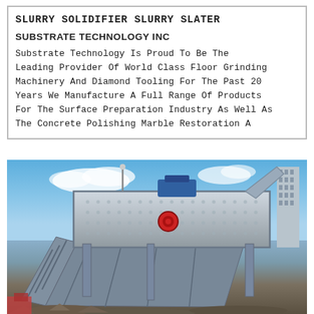SLURRY SOLIDIFIER SLURRY SLATER
SUBSTRATE TECHNOLOGY INC
Substrate Technology Is Proud To Be The Leading Provider Of World Class Floor Grinding Machinery And Diamond Tooling For The Past 20 Years We Manufacture A Full Range Of Products For The Surface Preparation Industry As Well As The Concrete Polishing Marble Restoration A...
[Figure (photo): Industrial heavy machinery - a large metal screening or crushing plant with multiple conveyor structures against a blue sky with clouds, urban buildings visible in background, demolition site in foreground]